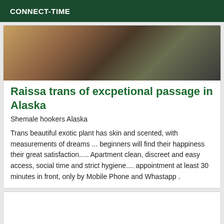CONNECT-TIME
[Figure (photo): Outdoor photo showing a person in a yellow/orange jacket with dark hair, and another person visible in the background]
Raissa trans of excpetional passage in Alaska
Shemale hookers Alaska
Trans beautiful exotic plant has skin and scented, with measurements of dreams ... beginners will find their happiness their great satisfaction..... Apartment clean, discreet and easy access, social time and strict hygiene.... appointment at least 30 minutes in front, only by Mobile Phone and Whastapp .